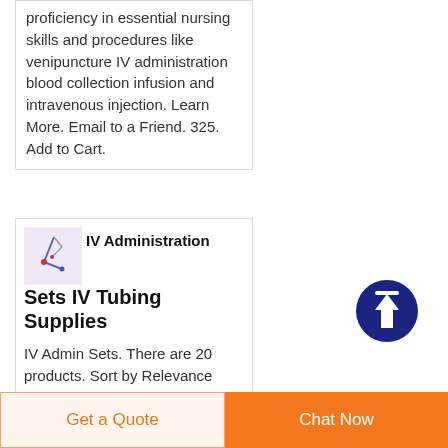proficiency in essential nursing skills and procedures like venipuncture IV administration blood collection infusion and intravenous injection. Learn More. Email to a Friend. 325. Add to Cart.
[Figure (illustration): Small product thumbnail image showing IV tubing/supplies on a light purple background]
IV Administration Sets IV Tubing Supplies
IV Admin Sets. There are 20 products. Sort by Relevance Name A to Z Name Z to A Price low to high Price high to
[Figure (other): Dark blue circular scroll-to-top button with white upward arrow]
Get a Quote | Chat Now